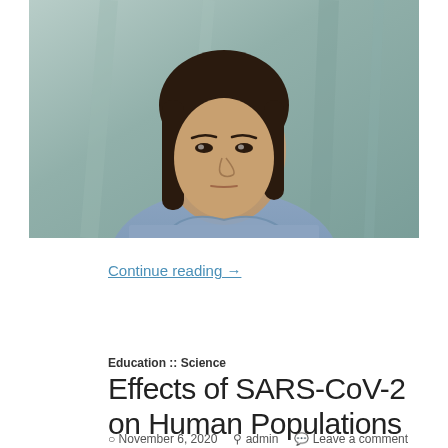[Figure (photo): Portrait photograph of an Asian woman with dark shoulder-length hair, wearing a light blue linen top, photographed against a teal/mint fabric background]
Continue reading →
Education :: Science
Effects of SARS-CoV-2 on Human Populations
November 6, 2020   admin   Leave a comment